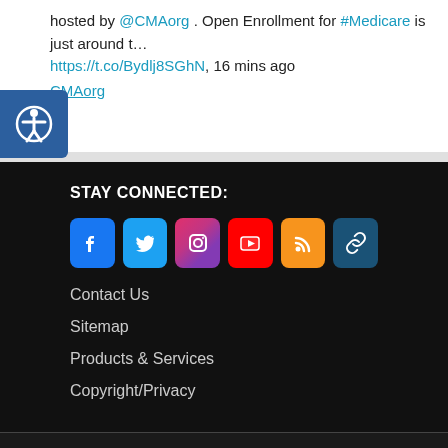hosted by @CMAorg . Open Enrollment for #Medicare is just around t… https://t.co/Bydlj8SGhN, 16 mins ago
CMAorg
STAY CONNECTED:
[Figure (infographic): Row of social media icon buttons: Facebook (blue), Twitter (blue), Instagram (gradient pink/purple), YouTube (red), RSS (orange), hyperlink (dark blue)]
Contact Us
Sitemap
Products & Services
Copyright/Privacy
© 2022 · Center for Medicare Advocacy